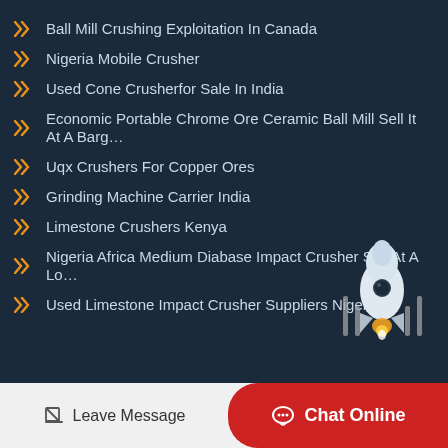Ball Mill Crushing Exploitation In Canada
Nigeria Mobile Crusher
Used Cone Crusherfor Sale In India
Economic Portable Chrome Ore Ceramic Ball Mill Sell It At A Barg…
Uqx Crushers For Copper Ores
Grinding Machine Carrier India
Limestone Crushers Kenya
Nigeria Africa Medium Diabase Impact Crusher Sell At A Lo…
Used Limestone Impact Crusher Suppliers Nigeria
[Figure (illustration): Rocket illustration in white and orange/yellow colors on dark background]
Leave Message  Chat Online